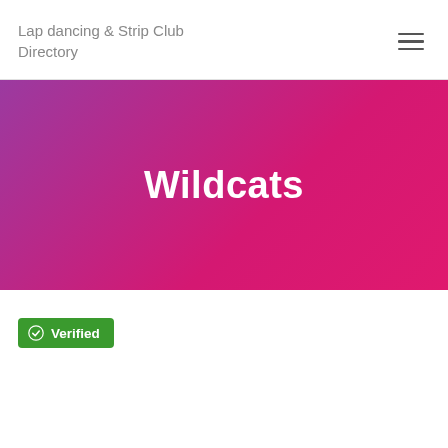Lap dancing & Strip Club Directory
Wildcats
Verified